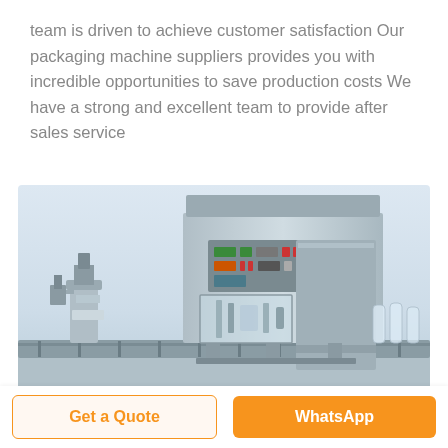team is driven to achieve customer satisfaction Our packaging machine suppliers provides you with incredible opportunities to save production costs We have a strong and excellent team to provide after sales service
[Figure (photo): Industrial packaging machine / filling line with stainless steel frame, control panel with buttons and display, conveyor belt, and bottles on the right side. Light blue-grey background.]
Get a Quote
WhatsApp